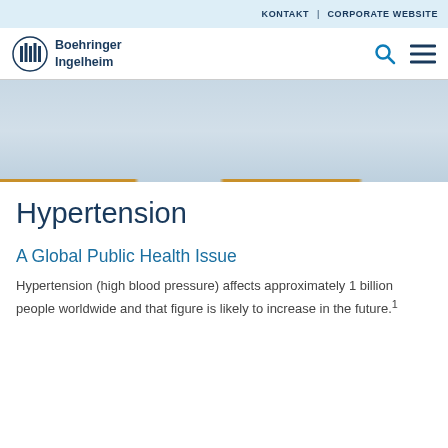KONTAKT | CORPORATE WEBSITE
[Figure (logo): Boehringer Ingelheim logo with circular column icon and company name]
[Figure (photo): Hero image banner — partially visible medical/corporate imagery in blue-gray tones]
Hypertension
A Global Public Health Issue
Hypertension (high blood pressure) affects approximately 1 billion people worldwide and that figure is likely to increase in the future.¹